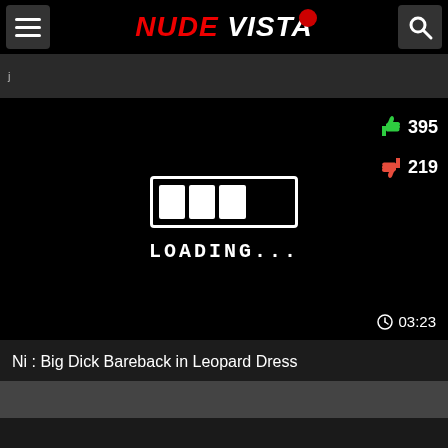NUDE VISTA
[Figure (screenshot): Video player showing a loading screen with a loading bar graphic and 'LOADING...' text on black background. Shows 395 likes, 219 dislikes, and duration 03:23.]
Ni : Big Dick Bareback in Leopard Dress
[Figure (photo): Bottom partial preview of another video thumbnail]